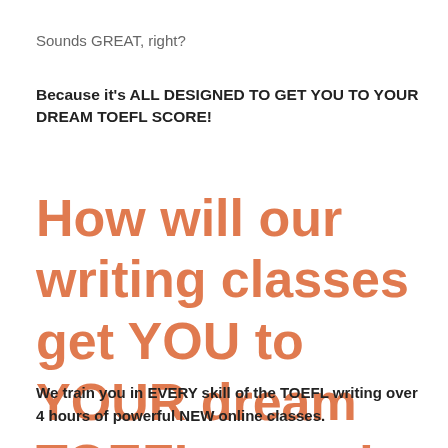Sounds GREAT, right?
Because it's ALL DESIGNED TO GET YOU TO YOUR DREAM TOEFL SCORE!
How will our writing classes get YOU to YOUR dream TOEFL score!
We train you in EVERY skill of the TOEFL writing over 4 hours of powerful NEW online classes.